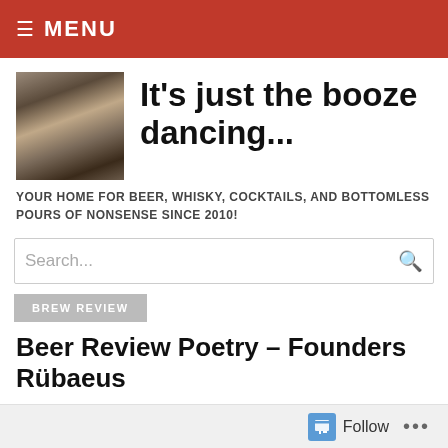MENU
It's just the booze dancing...
YOUR HOME FOR BEER, WHISKY, COCKTAILS, AND BOTTOMLESS POURS OF NONSENSE SINCE 2010!
BREW REVIEW
Beer Review Poetry – Founders Rübaeus
BY G-LO ON OCTOBER 1, 2014 • ( 4 COMMENTS )
👍 0 👎 0 ℹ Rate This
Follow ...